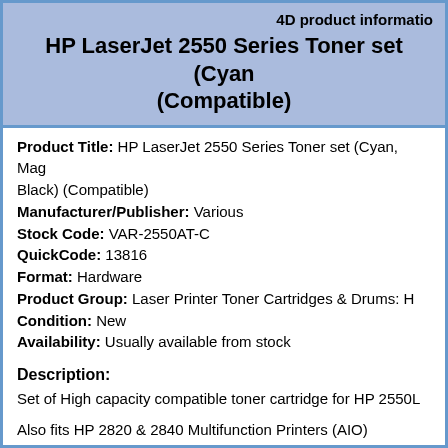4D product information
HP LaserJet 2550 Series Toner set (Cyan, Magenta, Yellow, Black) (Compatible)
Product Title: HP LaserJet 2550 Series Toner set (Cyan, Magenta, Yellow, Black) (Compatible)
Manufacturer/Publisher: Various
Stock Code: VAR-2550AT-C
QuickCode: 13816
Format: Hardware
Product Group: Laser Printer Toner Cartridges & Drums: HP
Condition: New
Availability: Usually available from stock
Description:
Set of High capacity compatible toner cartridge for HP 2550L

Also fits HP 2820 & 2840 Multifunction Printers (AIO)

Black toner 5,000 A4 pages, compatible with HP part no. Q39...
Cyan toner 4,000 A4 pages, compatible with HP part no. Q39...
Yellow toner 4,000 A4 pages, compatible with HP part no. Q3...